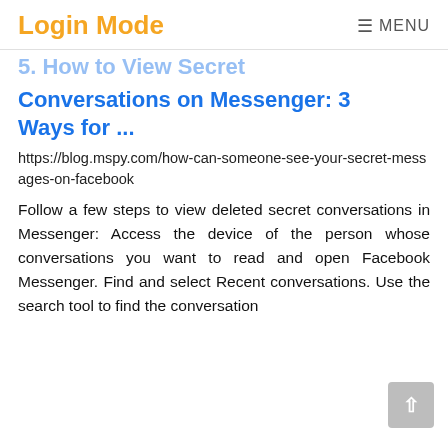Login Mode  ☰ MENU
5. How to View Secret Conversations on Messenger: 3 Ways for ...
https://blog.mspy.com/how-can-someone-see-your-secret-messages-on-facebook
Follow a few steps to view deleted secret conversations in Messenger: Access the device of the person whose conversations you want to read and open Facebook Messenger. Find and select Recent conversations. Use the search tool to find the conversation